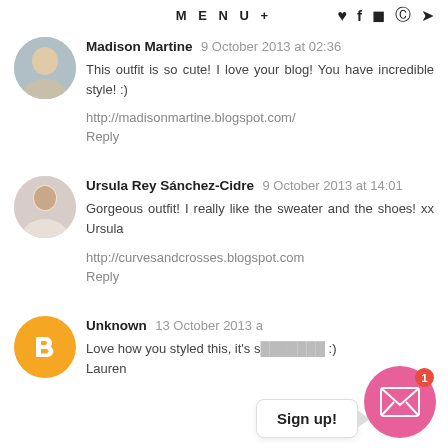MENU+
Madison Martine 9 October 2013 at 02:36
This outfit is so cute! I love your blog! You have incredible style! :)

http://madisonmartine.blogspot.com/
Reply
Ursula Rey Sánchez-Cidre 9 October 2013 at 14:01
Gorgeous outfit! I really like the sweater and the shoes! xx Ursula

http://curvesandcrosses.blogspot.com
Reply
Unknown 13 October 2013 a...
Love how you styled this, it's s... :)
Lauren